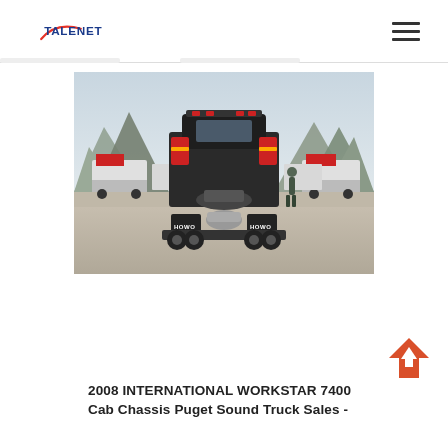TALENET
[Figure (photo): Rear view of HOWO trucks parked in a lot with mountains in the background. The central truck is black with HOWO badging on the mudflaps.]
2008 INTERNATIONAL WORKSTAR 7400 Cab Chassis Puget Sound Truck Sales -